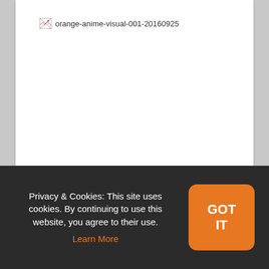[Figure (other): Broken image placeholder with alt text 'orange-anime-visual-001-20160925']
Privacy & Cookies: This site uses cookies. By continuing to use this website, you agree to their use. Learn More
GOT IT